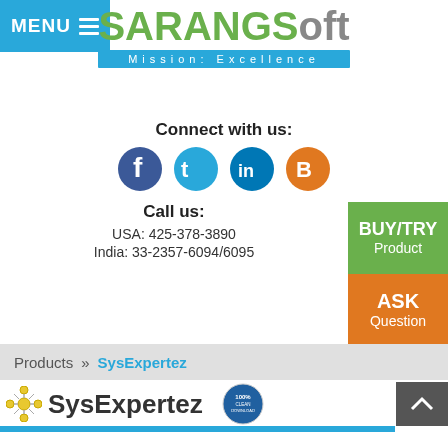MENU
[Figure (logo): SARANGSoft logo with green and gray text and blue 'Mission: Excellence' tagline banner]
Connect with us:
[Figure (infographic): Social media icons: Facebook (blue), Twitter (light blue), LinkedIn (dark blue), Blogger (orange)]
Call us:
USA: 425-378-3890
India: 33-2357-6094/6095
BUY/TRY Product
ASK Question
Products » SysExpertez
[Figure (logo): SysExpertez product logo with network icon, product name, and 100% clean download badge]
Do you know your network ?
What you don't know can hurt you!